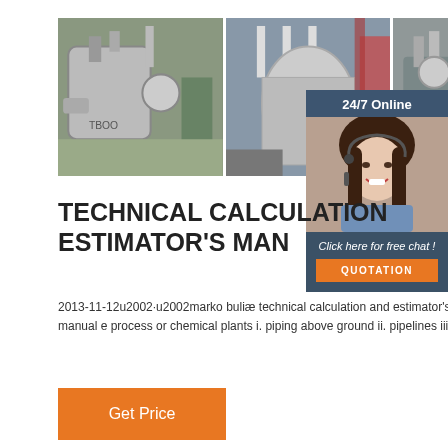[Figure (photo): Three industrial boiler/pressure vessel photos in a horizontal strip]
[Figure (photo): 24/7 Online customer service representative sidebar with chat and quotation buttons]
TECHNICAL CALCULATION ESTIMATOR'S MAN
2013-11-12u2002·u2002marko buliæ technical calculation and estimator's man-hour manual e process or chemical plants i. piping above ground ii. pipelines iii.
Get Price